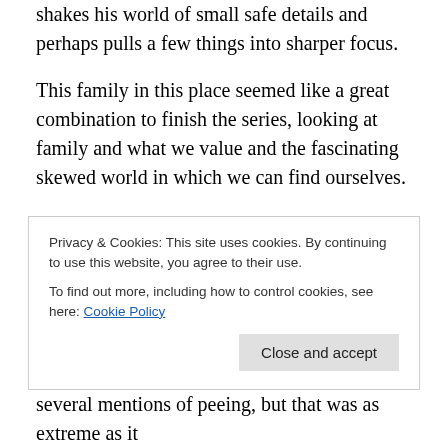shakes his world of small safe details and perhaps pulls a few things into sharper focus.
This family in this place seemed like a great combination to finish the series, looking at family and what we value and the fascinating skewed world in which we can find ourselves.
And then, once it was done, along came the irony of me providing work for a child actor, as the reader of the audio version of this novella. And there's a process to make that happen. Of course there's a process. And there should be
Privacy & Cookies: This site uses cookies. By continuing to use this website, you agree to their use.
To find out more, including how to control cookies, see here: Cookie Policy
several mentions of peeing, but that was as extreme as it